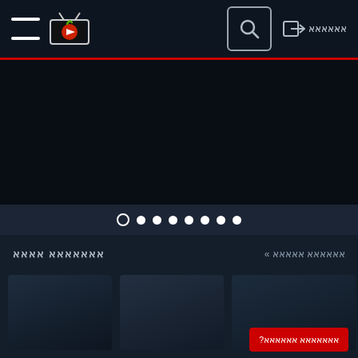[Figure (screenshot): Navigation header with hamburger menu icon, TV logo with play button, search icon button in a box, and login button with arrow icon and text in Arabic/Hebrew script]
[Figure (screenshot): Dark hero/slider area with carousel pagination dots (1 open circle and 7 filled circles)]
אאאאאאא אאאא
אאאאאא אאאאא »
[Figure (screenshot): Thumbnail content cards area with dark background]
אאאאאאא אאאאאא?